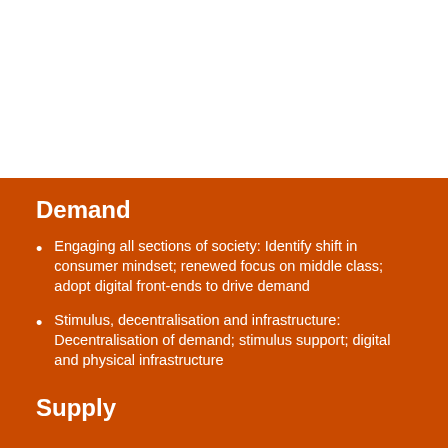Demand
Engaging all sections of society: Identify shift in consumer mindset; renewed focus on middle class; adopt digital front-ends to drive demand
Stimulus, decentralisation and infrastructure: Decentralisation of demand; stimulus support; digital and physical infrastructure
Supply